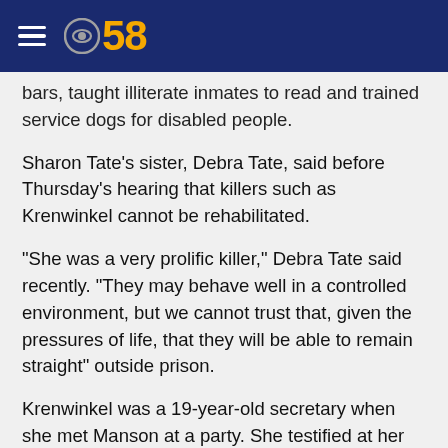CBS 58
bars, taught illiterate inmates to read and trained service dogs for disabled people.
Sharon Tate's sister, Debra Tate, said before Thursday's hearing that killers such as Krenwinkel cannot be rehabilitated.
“She was a very prolific killer,” Debra Tate said recently. “They may behave well in a controlled environment, but we cannot trust that, given the pressures of life, that they will be able to remain straight” outside prison.
Krenwinkel was a 19-year-old secretary when she met Manson at a party. She testified at her previous parole hearing that she left everything behind three